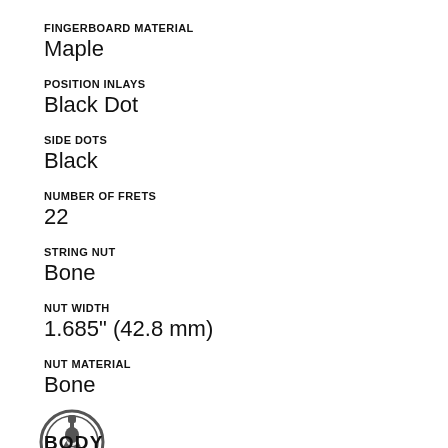FINGERBOARD MATERIAL
Maple
POSITION INLAYS
Black Dot
SIDE DOTS
Black
NUMBER OF FRETS
22
STRING NUT
Bone
NUT WIDTH
1.685" (42.8 mm)
NUT MATERIAL
Bone
[Figure (logo): Circular icon with a guitar silhouette inside, dark gray outline on white background]
BODY